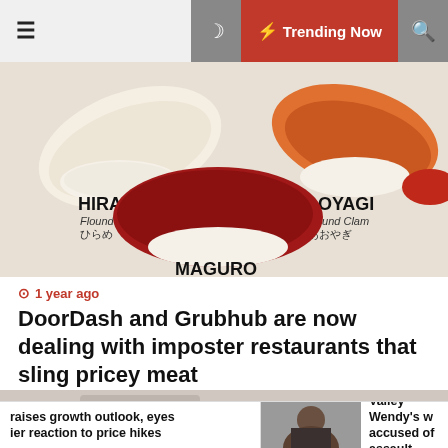≡  🌙  ⚡ Trending Now  🔍
[Figure (photo): Sushi pieces labeled: HIRAME (Flounder / ひらめ), AOYAGI (Round Clam / あおやぎ), MAGURO — on a white background.]
1 year ago
DoorDash and Grubhub are now dealing with imposter restaurants that sling pricey meat
[Figure (photo): Partially visible second article image, blurred/out of frame.]
raises growth outlook, eyes her reaction to price hikes
[Figure (photo): Portrait photo of a man in a suit.]
Prescott Valley Wendy's w accused of assault after c